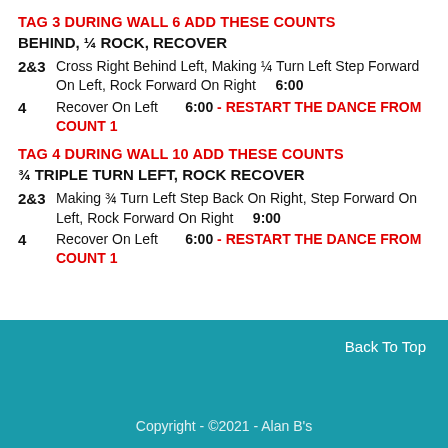TAG 3 DURING WALL 6 ADD THESE COUNTS
BEHIND, ¼ ROCK, RECOVER
2&3: Cross Right Behind Left, Making ¼ Turn Left Step Forward On Left, Rock Forward On Right  6:00
4: Recover On Left  6:00 - RESTART THE DANCE FROM COUNT 1
TAG 4 DURING WALL 10 ADD THESE COUNTS
¾ TRIPLE TURN LEFT, ROCK RECOVER
2&3: Making ¾ Turn Left Step Back On Right, Step Forward On Left, Rock Forward On Right  9:00
4: Recover On Left  6:00 - RESTART THE DANCE FROM COUNT 1
Back To Top
Copyright - ©2021 - Alan B's